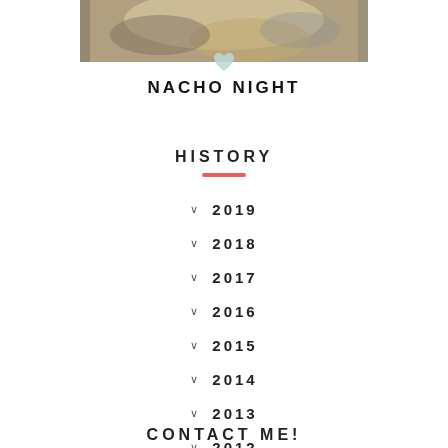[Figure (photo): Photo of a person holding a fluffy light-colored dog, partial view showing the dog's fur and person's gray shirt and tattooed arm]
NACHO NIGHT
HISTORY
2019
2018
2017
2016
2015
2014
2013
2012
CONTACT ME!